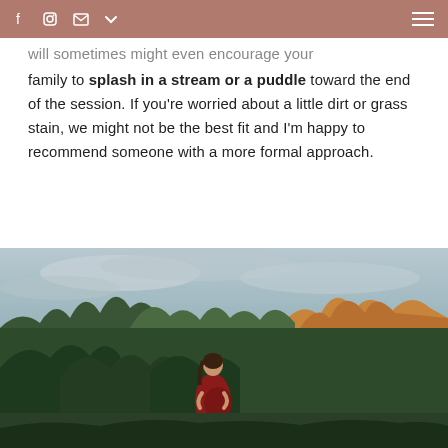f  [instagram icon]  [mail icon]  [chevron icon]  [hamburger menu]
...will sometimes might even encourage your family to splash in a stream or a puddle toward the end of the session. If you're worried about a little dirt or grass stain, we might not be the best fit and I'm happy to recommend someone with a more formal approach.
[Figure (photo): Outdoor maternity photo of a pregnant woman in a dark red dress standing among trees with autumn foliage and a cloudy sky background]